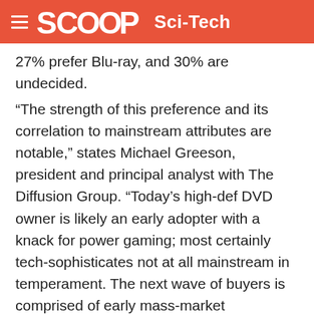SCOOP Sci-Tech
27% prefer Blu-ray, and 30% are undecided.
“The strength of this preference and its correlation to mainstream attributes are notable,” states Michael Greeson, president and principal analyst with The Diffusion Group. “Today’s high-def DVD owner is likely an early adopter with a knack for power gaming; most certainly tech-sophisticates not at all mainstream in temperament. The next wave of buyers is comprised of early mass-market consumers, a much larger segment with a focus on practical considerations such as price. It is TDG’s opinion that the format which can best address the needs of mainstream consumers will emerge as the winner of this format war.”